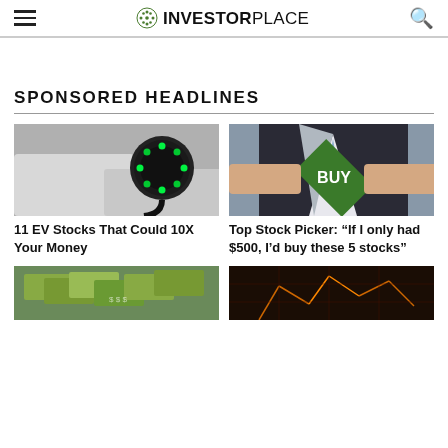INVESTORPLACE
SPONSORED HEADLINES
[Figure (photo): Electric vehicle charging port with green LED ring light]
11 EV Stocks That Could 10X Your Money
[Figure (photo): Man in suit opening shirt to reveal green BUY diamond sign]
Top Stock Picker: “If I only had $500, I’d buy these 5 stocks”
[Figure (photo): Money / cash bills close-up]
[Figure (photo): Technology circuit board with orange/amber illumination]